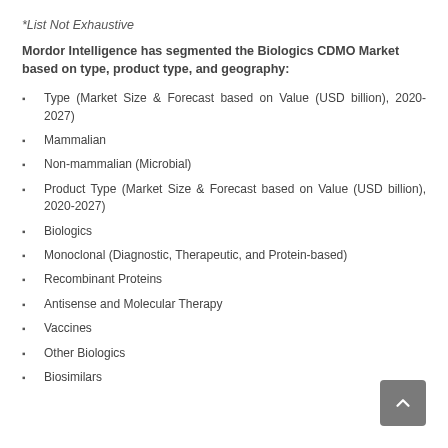*List Not Exhaustive
Mordor Intelligence has segmented the Biologics CDMO Market based on type, product type, and geography:
Type (Market Size & Forecast based on Value (USD billion), 2020-2027)
Mammalian
Non-mammalian (Microbial)
Product Type (Market Size & Forecast based on Value (USD billion), 2020-2027)
Biologics
Monoclonal (Diagnostic, Therapeutic, and Protein-based)
Recombinant Proteins
Antisense and Molecular Therapy
Vaccines
Other Biologics
Biosimilars